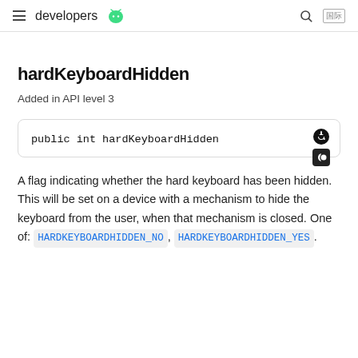developers
hardKeyboardHidden
Added in API level 3
A flag indicating whether the hard keyboard has been hidden. This will be set on a device with a mechanism to hide the keyboard from the user, when that mechanism is closed. One of: HARDKEYBOARDHIDDEN_NO, HARDKEYBOARDHIDDEN_YES.